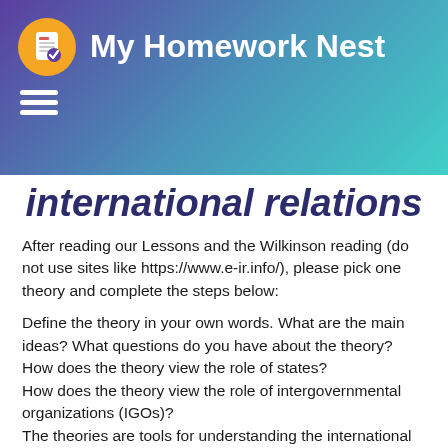My Homework Nest
international relations
After reading our Lessons and the Wilkinson reading (do not use sites like https://www.e-ir.info/), please pick one theory and complete the steps below:
Define the theory in your own words. What are the main ideas? What questions do you have about the theory? How does the theory view the role of states? How does the theory view the role of intergovernmental organizations (IGOs)? The theories are tools for understanding the international system, not belief systems. Think of them as pairs of lenses you can put on and take off to try another pair. What is the best way to use the "tool" or "lens" you picked: for understanding things that already happened in the